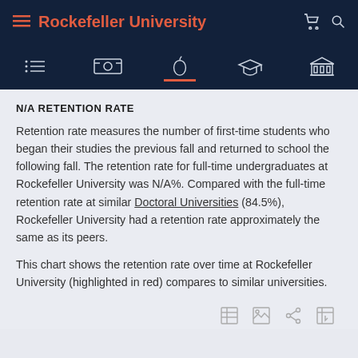Rockefeller University
N/A RETENTION RATE
Retention rate measures the number of first-time students who began their studies the previous fall and returned to school the following fall. The retention rate for full-time undergraduates at Rockefeller University was N/A%. Compared with the full-time retention rate at similar Doctoral Universities (84.5%), Rockefeller University had a retention rate approximately the same as its peers.
This chart shows the retention rate over time at Rockefeller University (highlighted in red) compares to similar universities.